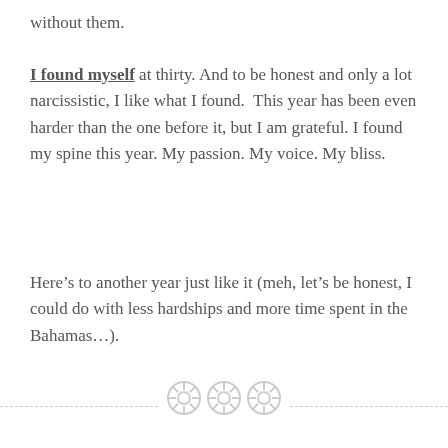without them.
I found myself at thirty. And to be honest and only a lot narcissistic, I like what I found.  This year has been even harder than the one before it, but I am grateful. I found my spine this year. My passion. My voice. My bliss.
Here’s to another year just like it (meh, let’s be honest, I could do with less hardships and more time spent in the Bahamas…).
[Figure (illustration): Three circular button/gear icons arranged horizontally along a dashed horizontal divider line, in light grey color]